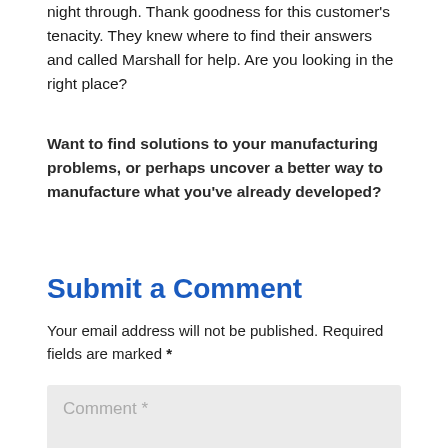night through. Thank goodness for this customer's tenacity. They knew where to find their answers and called Marshall for help. Are you looking in the right place?
Want to find solutions to your manufacturing problems, or perhaps uncover a better way to manufacture what you've already developed?
Submit a Comment
Your email address will not be published. Required fields are marked *
Comment *